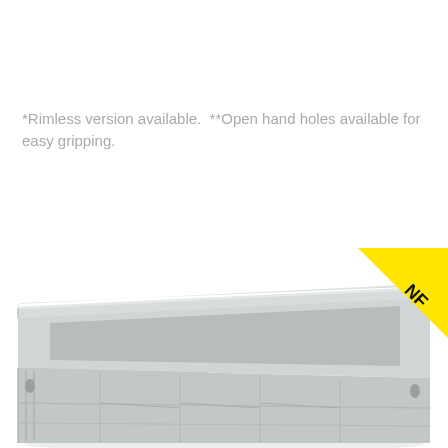*Rimless version available.  **Open hand holes available for easy gripping.
[Figure (photo): A gray rectangular plastic stackable container/tote box shown in perspective view from above, with ribbed sides, hand holes, and cross-braced bottom structure. A yellow diagonal ribbon badge in the top-right corner reads 'NF' in black bold text.]